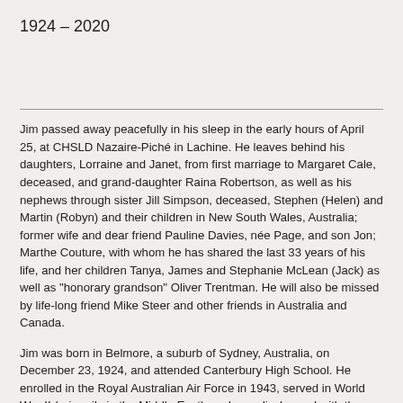1924 – 2020
Jim passed away peacefully in his sleep in the early hours of April 25, at CHSLD Nazaire-Piché in Lachine. He leaves behind his daughters, Lorraine and Janet, from first marriage to Margaret Cale, deceased, and grand-daughter Raina Robertson, as well as his nephews through sister Jill Simpson, deceased, Stephen (Helen) and Martin (Robyn) and their children in New South Wales, Australia; former wife and dear friend Pauline Davies, née Page, and son Jon; Marthe Couture, with whom he has shared the last 33 years of his life, and her children Tanya, James and Stephanie McLean (Jack) as well as "honorary grandson" Oliver Trentman. He will also be missed by life-long friend Mike Steer and other friends in Australia and Canada.
Jim was born in Belmore, a suburb of Sydney, Australia, on December 23, 1924, and attended Canterbury High School. He enrolled in the Royal Australian Air Force in 1943, served in World War II (primarily in the Middle East), and was discharged with the rank of Warrant Officer in 1946. Upon graduation from Sydney Teachers' College, he